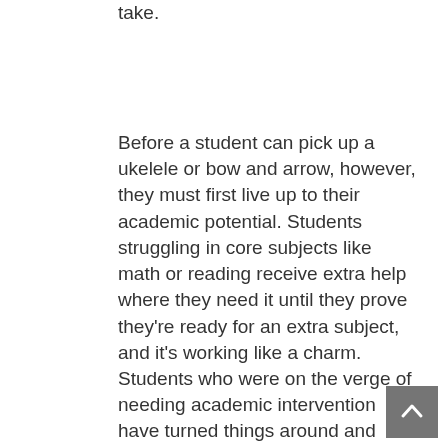take.
Before a student can pick up a ukelele or bow and arrow, however, they must first live up to their academic potential. Students struggling in core subjects like math or reading receive extra help where they need it until they prove they're ready for an extra subject, and it's working like a charm. Students who were on the verge of needing academic intervention have turned things around and improved by leaps and bounds so that they, too, could be part of the enrichment program. Since the beginning of the school year, the number of participating students has more than doubled.